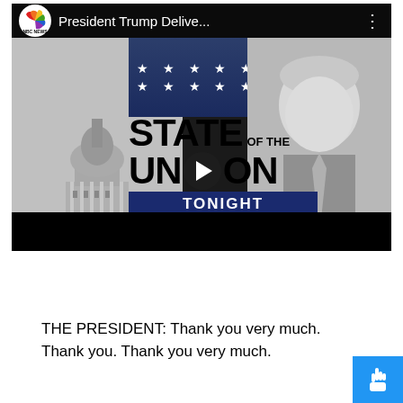[Figure (screenshot): NBC News YouTube video thumbnail showing 'President Trump Delive...' title, NBC News logo, State of the Union Tonight 9PM ET / 6PM PT graphic with Trump portrait and Capitol building background, play button overlay, red/white stripes and black bottom bar.]
THE PRESIDENT: Thank you very much. Thank you. Thank you very much.